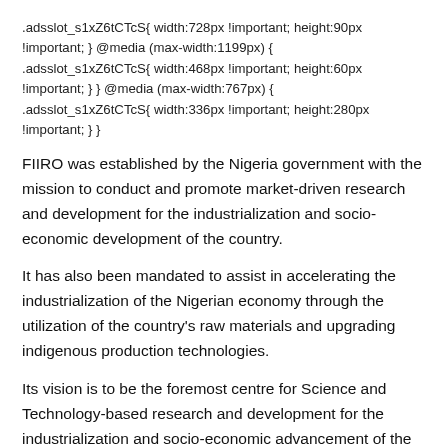.adsslot_s1xZ6tCTcS{ width:728px !important; height:90px !important; } @media (max-width:1199px) { .adsslot_s1xZ6tCTcS{ width:468px !important; height:60px !important; } } @media (max-width:767px) { .adsslot_s1xZ6tCTcS{ width:336px !important; height:280px !important; } }
FIIRO was established by the Nigeria government with the mission to conduct and promote market-driven research and development for the industrialization and socio-economic development of the country.
It has also been mandated to assist in accelerating the industrialization of the Nigerian economy through the utilization of the country's raw materials and upgrading indigenous production technologies.
Its vision is to be the foremost centre for Science and Technology-based research and development for the industrialization and socio-economic advancement of the